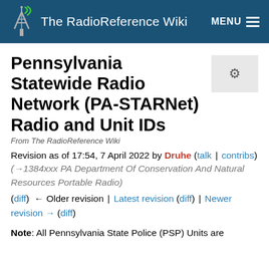The RadioReference Wiki
Pennsylvania Statewide Radio Network (PA-STARNet) Radio and Unit IDs
From The RadioReference Wiki
Revision as of 17:54, 7 April 2022 by Druhe (talk | contribs) (→1384xxx PA Department Of Conservation And Natural Resources Portable Radio)
(diff) ← Older revision | Latest revision (diff) | Newer revision → (diff)
Note: All Pennsylvania State Police (PSP) Units are